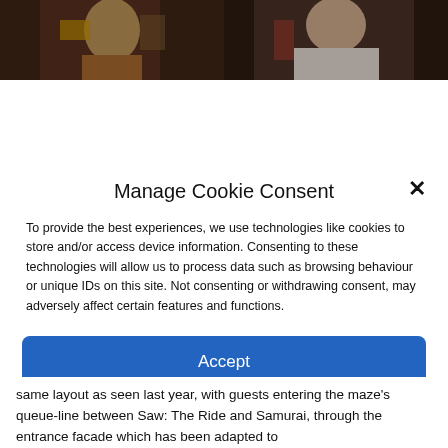[Figure (photo): Two side-by-side cropped photos at top: left shows a person in costume with yellow/gold clothing against a dark background; right shows a person in white clothing against a dark background.]
Manage Cookie Consent
To provide the best experiences, we use technologies like cookies to store and/or access device information. Consenting to these technologies will allow us to process data such as browsing behaviour or unique IDs on this site. Not consenting or withdrawing consent, may adversely affect certain features and functions.
Accept
Deny
View preferences
Cookie Policy   Terms & Conditions
same layout as seen last year, with guests entering the maze's queue-line between Saw: The Ride and Samurai, through the entrance facade which has been adapted to